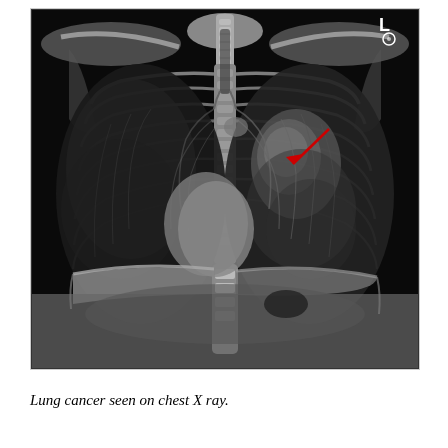[Figure (photo): Chest X-ray (posteroanterior view) showing lung cancer. The image is a black and white radiograph showing both lungs, ribs, clavicles, spine, and heart. A red arrow points to an opacity/mass in the left lung (right side of image from viewer perspective) in the upper-to-mid zone, indicating a lung cancer lesion. The letter 'L' appears in the upper right corner of the X-ray indicating left side orientation.]
Lung cancer seen on chest X ray.